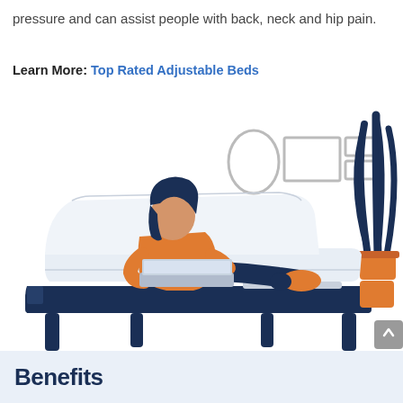pressure and can assist people with back, neck and hip pain.
Learn More: Top Rated Adjustable Beds
[Figure (illustration): Illustration of a woman with dark hair sitting on an adjustable bed in a reclined position, using a laptop. She is wearing an orange top and dark pants with orange socks. The bed has a dark navy frame with legs, and a white mattress. In the background there are framed pictures on the wall (oval and rectangular frames) and a dark navy plant. A small orange object (nightstand) is visible at the right side of the bed.]
Benefits